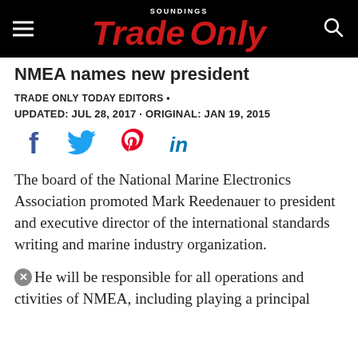Soundings Trade Only
NMEA names new president
TRADE ONLY TODAY EDITORS •
UPDATED: JUL 28, 2017 · ORIGINAL: JAN 19, 2015
[Figure (infographic): Social share icons: Facebook, Twitter, Pinterest, LinkedIn]
The board of the National Marine Electronics Association promoted Mark Reedenauer to president and executive director of the international standards writing and marine industry organization.
He will be responsible for all operations and activities of NMEA, including playing a principal